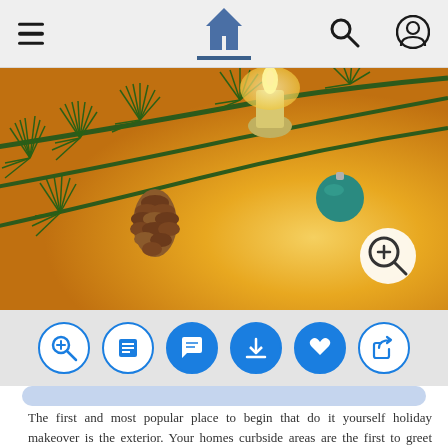Navigation bar with hamburger menu, home icon, search icon, user icon
[Figure (photo): Close-up photo of Christmas holiday decorations: pine branches, pine cone, ornament baubles, and a gold candle on a warm yellow/golden background]
[Figure (infographic): Row of 6 circular action buttons: zoom-in (magnifier+), document/article, comment/chat, download (arrow down), heart/like, share (arrow)]
The first and most popular place to begin that do it yourself holiday makeover is the exterior. Your homes curbside areas are the first to greet friends and family, so ensure that you make a fabulous first impression with impressive Christmas lawn decorations. The number of unique items to trim your yard has absolutely skyrocketed in recent years.